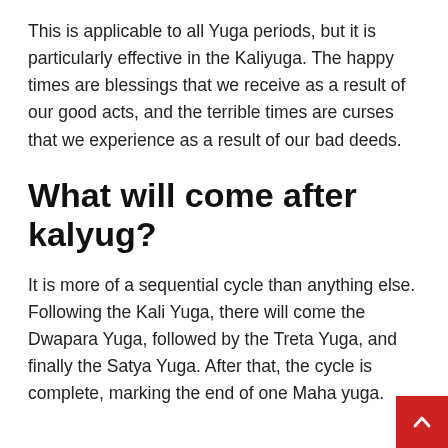This is applicable to all Yuga periods, but it is particularly effective in the Kaliyuga. The happy times are blessings that we receive as a result of our good acts, and the terrible times are curses that we experience as a result of our bad deeds.
What will come after kalyug?
It is more of a sequential cycle than anything else. Following the Kali Yuga, there will come the Dwapara Yuga, followed by the Treta Yuga, and finally the Satya Yuga. After that, the cycle is complete, marking the end of one Maha yuga.